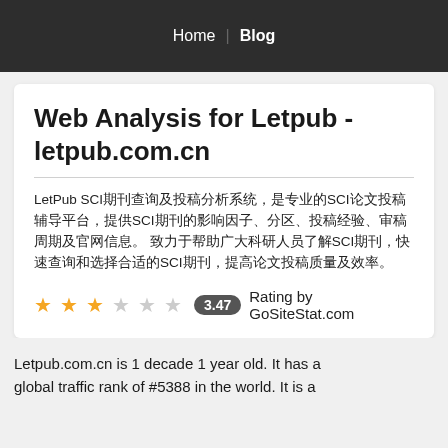Home | Blog
Web Analysis for Letpub - letpub.com.cn
LetPub SCI期刊查询及投稿分析系统，是专业的SCI论文投稿辅导平台，提供SCI期刊的影响因子、分区、投稿经验、审稿周期及官网信息。 致力于帮助广大科研人员了解SCI期刊，快速查询和选择合适的SCI期刊，提高论文投稿质量及效率。
3.47 Rating by GoSiteStat.com
Letpub.com.cn is 1 decade 1 year old. It has a global traffic rank of #5388 in the world. It is a